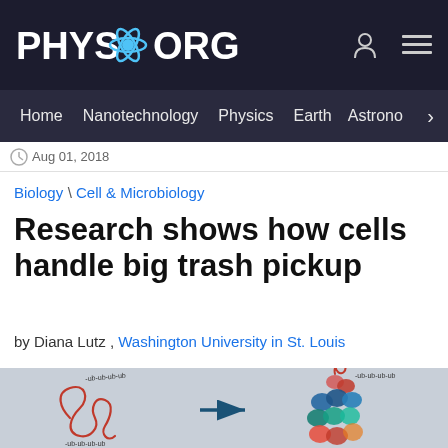PHYS.ORG
Home  Nanotechnology  Physics  Earth  Astrono  >
Aug 01, 2018
Biology \ Cell & Microbiology
Research shows how cells handle big trash pickup
by Diana Lutz , Washington University in St. Louis
[Figure (illustration): Scientific illustration showing a tangled red protein/molecule on the left transforming (arrow pointing right) into a structured cluster of colored spheres (blue, red, teal) on the right, with handwritten labels 'ub-ub-ub-ub' indicating ubiquitin chains.]